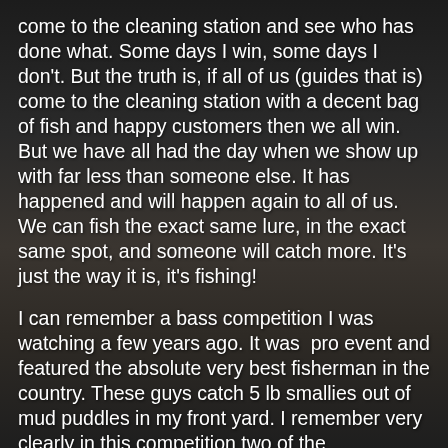come to the cleaning station and see who has done what. Some days I win, some days I don't. But the truth is, if all of us (guides that is) come to the cleaning station with a decent bag of fish and happy customers then we all win. But we have all had the day when we show up with far less than someone else. It has happened and will happen again to all of us. We can fish the exact same lure, in the exact same spot, and someone will catch more. It's just the way it is, it's fishing!
I can remember a bass competition I was watching a few years ago. It was  pro event and featured the absolute very best fisherman in the country. These guys catch 5 lb smallies out of mud puddles in my front yard. I remember very clearly in this competition two of the competitors had found a hydrilla pad.  I also remember one of the contestants was Gary Yamamoto. Yamamoto and the the other guy we're the only two fishing this pad and they where using the exact same skirted jig. To the color even. Yamamoto was killing them and built a huge lead on the field while the guy next door struggled to catch a limit of keepers. Yamamoto was culling several fish an hour and his competitor barely got